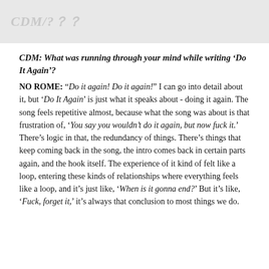CDM/7??
CDM: What was running through your mind while writing 'Do It Again'?
NO ROME: "Do it again! Do it again!" I can go into detail about it, but 'Do It Again' is just what it speaks about - doing it again. The song feels repetitive almost, because what the song was about is that frustration of, 'You say you wouldn't do it again, but now fuck it.' There's logic in that, the redundancy of things. There's things that keep coming back in the song, the intro comes back in certain parts again, and the hook itself. The experience of it kind of felt like a loop, entering these kinds of relationships where everything feels like a loop, and it's just like, 'When is it gonna end?' But it's like, 'Fuck, forget it,' it's always that conclusion to most things we do.